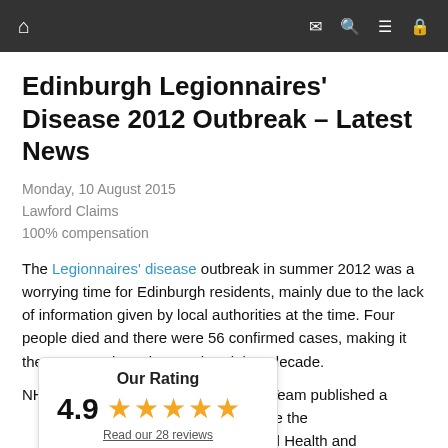Navigation bar with home icon and icons for mail, search, menu, lock
Edinburgh Legionnaires' Disease 2012 Outbreak – Latest News
Monday, 10 August 2015
Lawford Claims
100% compensation
The Legionnaires' disease outbreak in summer 2012 was a worrying time for Edinburgh residents, mainly due to the lack of information given by local authorities at the time. Four people died and there were 56 confirmed cases, making it the worst Legionnaires' outbreak in a decade.
NHS Lothian's Incident Management Team published a week, which said that since the burgh Council's Food Health and ed its ability to inspect risk to respond to Legionella
[Figure (infographic): Rating card showing 'Our Rating' with score 4.9, five gold stars, and 'Read our 28 reviews' link]